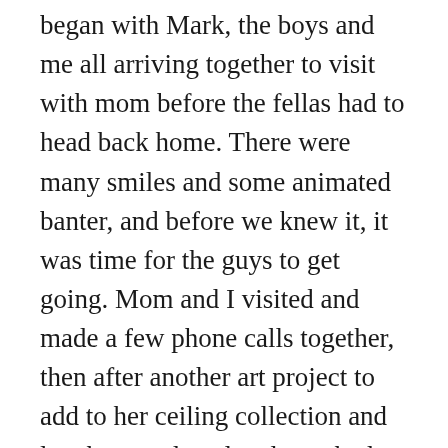began with Mark, the boys and me all arriving together to visit with mom before the fellas had to head back home. There were many smiles and some animated banter, and before we knew it, it was time for the guys to get going. Mom and I visited and made a few phone calls together, then after another art project to add to her ceiling collection and lunch, we relaxed and watched a movie. Of course, after sitting for the length of an entire film, we both had grown restless, and were ready to head outdoors. Sun hats and sunglasses on, I quickly pushed her out of her wing, and we were riding the elevator to freedom. There was a warm wind blowing